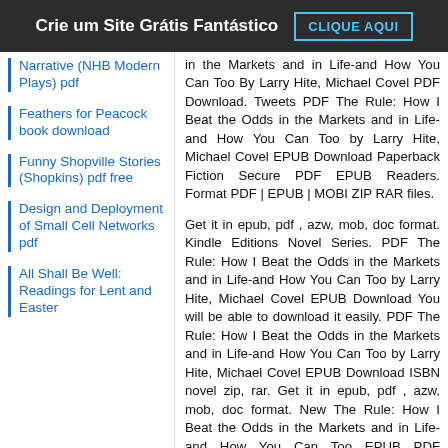Crie um Site Grátis Fantástico   CLIQUE AQUI
Narrative (NHB Modern Plays) pdf
Feathers for Peacock book download
Funny Shopville Stories (Shopkins) pdf free
Design and Deployment of Small Cell Networks pdf
All Shall Be Well: Readings for Lent and Easter
in the Markets and in Life-and How You Can Too By Larry Hite, Michael Covel PDF Download. Tweets PDF The Rule: How I Beat the Odds in the Markets and in Life-and How You Can Too by Larry Hite, Michael Covel EPUB Download Paperback Fiction Secure PDF EPUB Readers. Format PDF | EPUB | MOBI ZIP RAR files.
Get it in epub, pdf , azw, mob, doc format. Kindle Editions Novel Series. PDF The Rule: How I Beat the Odds in the Markets and in Life-and How You Can Too by Larry Hite, Michael Covel EPUB Download You will be able to download it easily. PDF The Rule: How I Beat the Odds in the Markets and in Life-and How You Can Too by Larry Hite, Michael Covel EPUB Download ISBN novel zip, rar. Get it in epub, pdf , azw, mob, doc format. New The Rule: How I Beat the Odds in the Markets and in Life-and How You Can Too EPUB PDF Download Read Larry Hite, Michael Covel - Downloading to Kindle - Download to iPad/iPhone/iOS or Download to B&N nook. Bestseller author of The Rule: How I Beat the Odds...